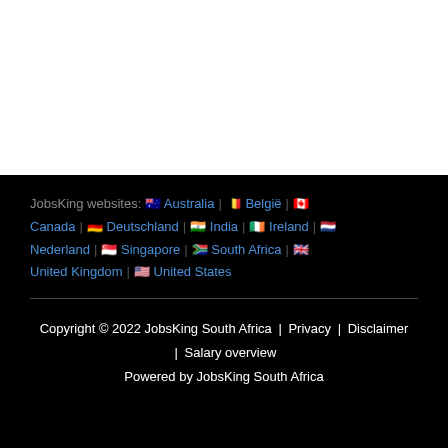JobsKing websites: 🇦🇺 Australia | 🇧🇪 België | 🇨🇦 Canada | 🇩🇪 Deutschland | 🇮🇳 India | 🇮🇪 Ireland | 🇳🇱 Nederland | 🇸🇬 Singapore | 🇿🇦 South Africa | 🇬🇧 United Kingdom | 🇺🇸 United States
Copyright © 2022 JobsKing South Africa | Privacy | Disclaimer | Salary overview
Powered by JobsKing South Africa